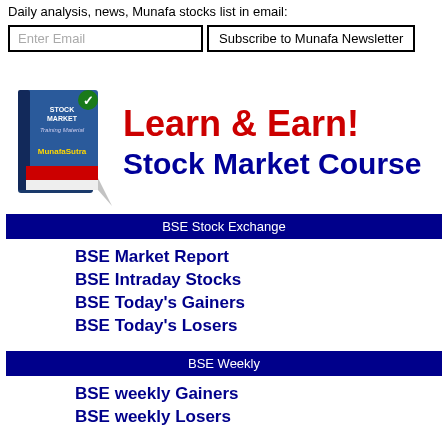Daily analysis, news, Munafa stocks list in email:
Enter Email | Subscribe to Munafa Newsletter
[Figure (illustration): Stock Market Training Material book with MunafaSutra branding]
Learn & Earn! Stock Market Course
BSE Stock Exchange
BSE Market Report
BSE Intraday Stocks
BSE Today's Gainers
BSE Today's Losers
BSE Weekly
BSE weekly Gainers
BSE weekly Losers